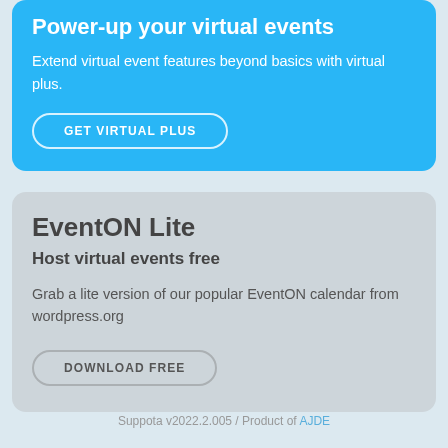Power-up your virtual events
Extend virtual event features beyond basics with virtual plus.
GET VIRTUAL PLUS
EventON Lite
Host virtual events free
Grab a lite version of our popular EventON calendar from wordpress.org
DOWNLOAD FREE
Suppota v2022.2.005 / Product of AJDE